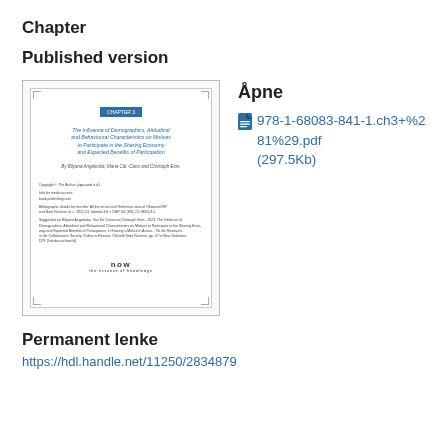Chapter
Published version
[Figure (illustration): Thumbnail preview of a chapter page showing a blue chapter label, an italic title about Demographics, Attitudinal and Behavioural Characteristics on Motives to Participate in the Sharing Economy, authors listed in italics, body text paragraphs, and a 'now' publisher logo at the bottom.]
Åpne
978-1-68083-841-1.ch3+%281%29.pdf (297.5Kb)
Permanent lenke
https://hdl.handle.net/11250/2834879